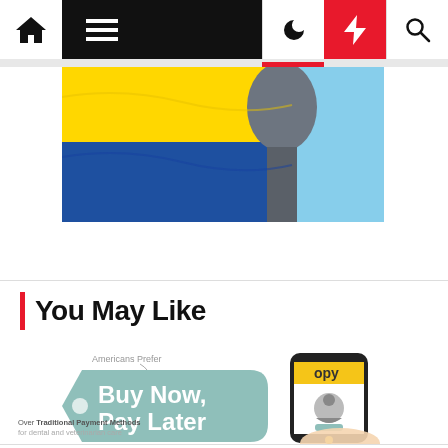Navigation bar with home, menu, moon, bolt, and search icons
[Figure (photo): Ukrainian flag (yellow and blue) with what appears to be a statue or monument against a blue sky]
You May Like
[Figure (infographic): Buy Now, Pay Later infographic showing Americans prefer Buy Now Pay Later over Traditional Payment Methods for dental and veterinarian care, with an Opy app shown on a smartphone held in a hand. Green tag shape with white text reads 'Buy Now, Pay Later'.]